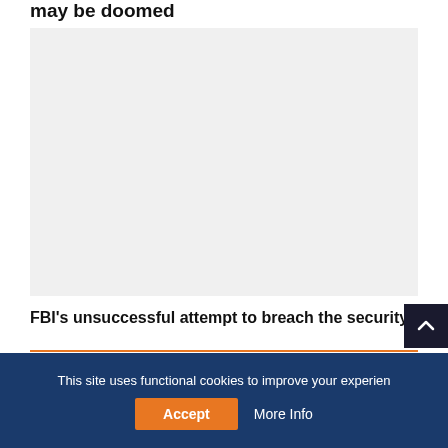may be doomed
[Figure (photo): Large light gray placeholder image area]
FBI's unsuccessful attempt to breach the security
2 COMMENTS
This site uses functional cookies to improve your experien
Accept
More Info